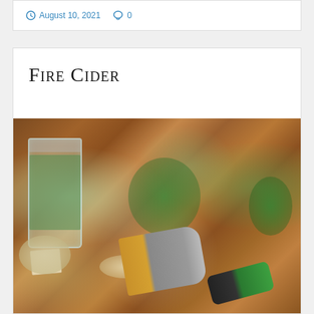August 10, 2021   0
Fire Cider
[Figure (photo): Overhead view of a wooden cutting board with ingredients for fire cider: a mason jar filled with herbs, piles of chopped herbs and greens, dried horseradish shavings, chopped garlic, ground spices, a box grater, and a vegetable peeler.]